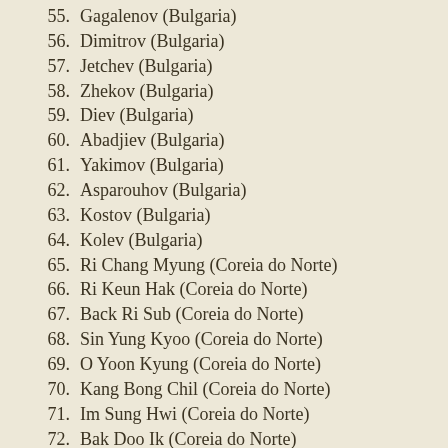55. Gagalenov (Bulgaria)
56. Dimitrov (Bulgaria)
57. Jetchev (Bulgaria)
58. Zhekov (Bulgaria)
59. Diev (Bulgaria)
60. Abadjiev (Bulgaria)
61. Yakimov (Bulgaria)
62. Asparouhov (Bulgaria)
63. Kostov (Bulgaria)
64. Kolev (Bulgaria)
65. Ri Chang Myung (Coreia do Norte)
66. Ri Keun Hak (Coreia do Norte)
67. Back Ri Sub (Coreia do Norte)
68. Sin Yung Kyoo (Coreia do Norte)
69. O Yoon Kyung (Coreia do Norte)
70. Kang Bong Chil (Coreia do Norte)
71. Im Sung Hwi (Coreia do Norte)
72. Bak Doo Ik (Coreia do Norte)
73. Bak Seung Jin (Coreia do Norte)
74. Yang Sung Kook (Coreia do Norte)
75. Ri Dong Woom (Coreia do Norte)
76. Kim Yung Kil (Coreia do Norte)
77. Kim Jong Chi (Coreia do Norte)